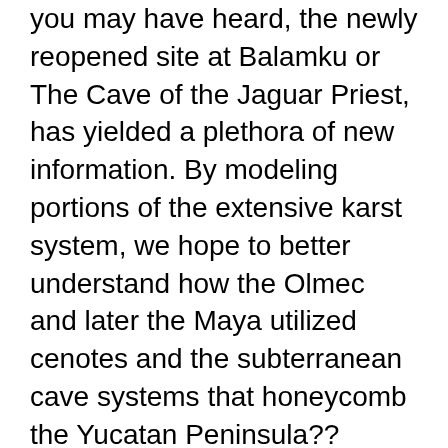you may have heard, the newly reopened site at Balamku or The Cave of the Jaguar Priest, has yielded a plethora of new information. By modeling portions of the extensive karst system, we hope to better understand how the Olmec and later the Maya utilized cenotes and the subterranean cave systems that honeycomb the Yucatan Peninsula??
Pia clicks through several slides of recent underwater finds and 3-D imaging of the cenote at Ek-Balam but fails to show or mention the recent boar?s tusk find in her presentation. While Pia is speaking, Dr. Hau?s phone vibrates. He surreptitiously checks his text messages ? it is from Luis.
The text from Luis reads, ?This little piggy came